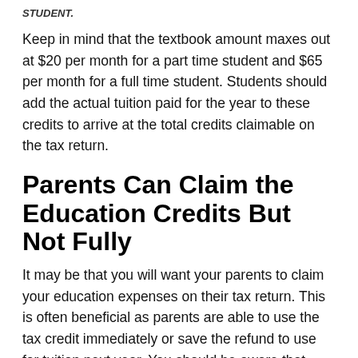STUDENT.
Keep in mind that the textbook amount maxes out at $20 per month for a part time student and $65 per month for a full time student. Students should add the actual tuition paid for the year to these credits to arrive at the total credits claimable on the tax return.
Parents Can Claim the Education Credits But Not Fully
It may be that you will want your parents to claim your education expenses on their tax return. This is often beneficial as parents are able to use the tax credit immediately or save the refund to use for tuition next year. You should be aware that your parents can only claim a portion of the expenses each year so you may have some deductions left over. The maximum